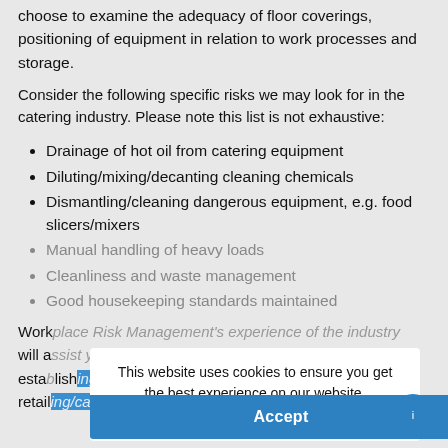choose to examine the adequacy of floor coverings, positioning of equipment in relation to work processes and storage.
Consider the following specific risks we may look for in the catering industry. Please note this list is not exhaustive:
Drainage of hot oil from catering equipment
Diluting/mixing/decanting cleaning chemicals
Dismantling/cleaning dangerous equipment, e.g. food slicers/mixers
Manual handling of heavy loads
Cleanliness and waste management
Good housekeeping standards maintained
Workplace Risk Management's experience of the industry will assist your restaurant, café, bar or food outlet, establishing safe systems and control risks, in a food retailing/catering environment.
This website uses cookies to ensure you get the best experience on our website.
Learn more
Accept